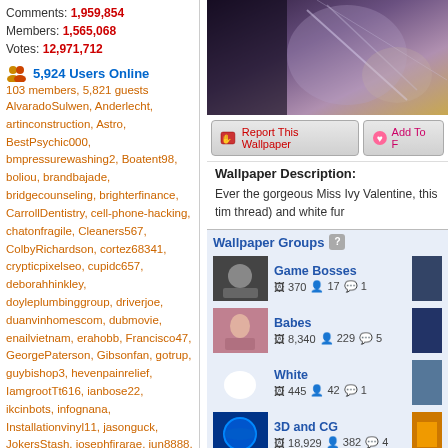Comments: 1,959,854
Members: 1,565,068
Votes: 12,971,712
5,924 Users Online
103 members, 5,821 guests
AlvaradoSulwen, Anderlecht, artinconstruction, Astro, BestPsychic000, bmpressurewashing2, Boatent98, boliou, brandbajade, bridgecounseling, brighterfinance, CarrollDentistry, cell-phone-hacking, chatonfragile, Cleaners567, ColbyRichardson, cortez68341, crypticpixelseo, cupidc657, deborahhinkley, doyleplumbinggroup, driverjoe, duanvinhomescom, dubmovie, enailvietnam, erahobb, Francisco47, GeorgePaterson, Gibsonfan, gotrup, guybishop3, hevenpainrelief, IamgrootTt616, ianbose22, ikcinbots, infognana, Installationvinyl11, jasonguck, JokersStash, josephfirarae, jun8888, KayaXu8, khungnhomkinhvietphon..., kinggohan, Lalina, Lamamake, leonbetappin, lertuiosq, lilla811, lirikmerch, maayash, macthanhvu, marquisbarkley, mayapatil281995, McKinneysTX, mikepaxson, missshweta, mistydaydream1, mod.CG, modzoro, mumtazdental, now888today, phaesic777
[Figure (photo): Wallpaper image of Ivy Valentine from Soul Calibur, showing silver/white costume details with thread and white fur]
Report This Wallpaper
Add To F
Wallpaper Description:
Ever the gorgeous Miss Ivy Valentine, this tim thread) and white fur
Wallpaper Groups
Game Bosses
370  17  1
Babes
8,340  229  5
White
445  42  1
3D and CG
18,929  382  4
Leave a comment...